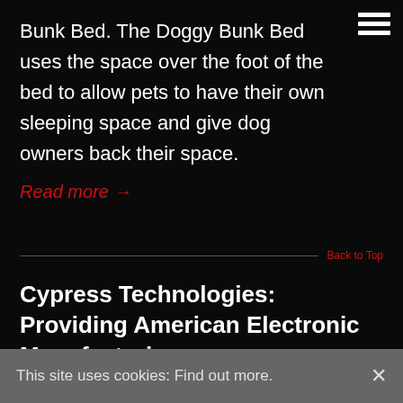Bunk Bed. The Doggy Bunk Bed uses the space over the foot of the bed to allow pets to have their own sleeping space and give dog owners back their space.
Read more →
Back to Top
Cypress Technologies: Providing American Electronic Manufacturing
By Danielle Parker on 11/29/2021  /
This site uses cookies: Find out more.